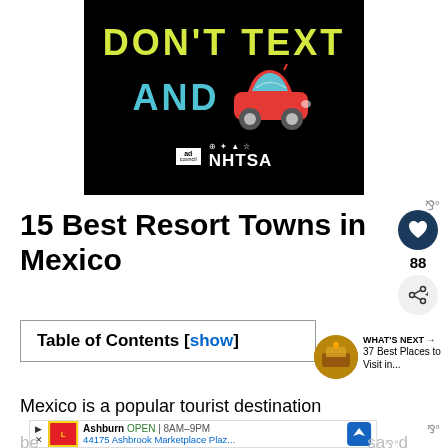[Figure (photo): Advertisement banner on black background showing 'DON'T TEXT AND' with a red car emoji, ad council logo, and NHTSA logo]
15 Best Resort Towns in Mexico
| Table of Contents [show] |
[Figure (photo): What's Next widget showing thumbnail of a city with text '37 Best Places to Visit in...']
Mexico is a popular tourist destination
[Figure (screenshot): Bottom advertisement showing Lidl store info: Ashburn OPEN 8AM-9PM, 44175 Ashbrook Marketplace Plaz...]